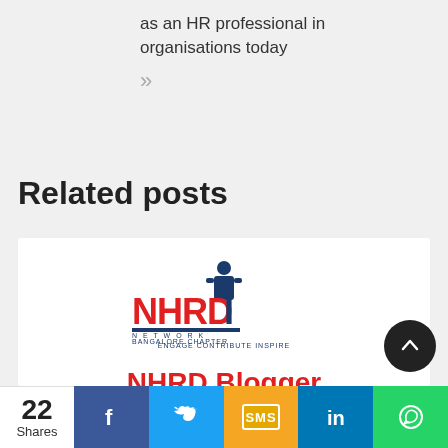as an HR professional in organisations today
»
Related posts
[Figure (logo): NHRD Network Bangalore Chapter logo with chess piece icon and text 'NHRD NETWORK BANGALORE CHAPTER ENGAGE CONTRIBUTE INSPIRE', followed by bold red text 'NHRD Blogger Contest Winner']
22 Shares
[Figure (infographic): Social share bar with Facebook, Twitter, SMS, LinkedIn, and WhatsApp buttons]